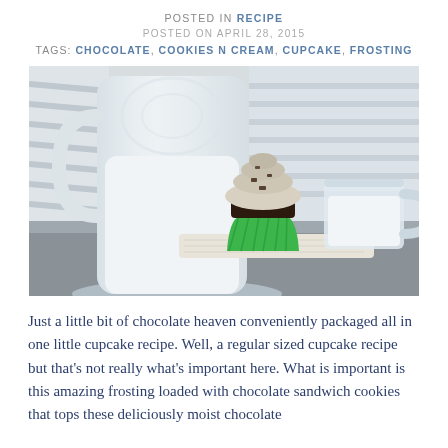POSTED IN RECIPE
POSTED ON APRIL 28, 2015
TAGS: CHOCOLATE, COOKIES N CREAM, CUPCAKE, FROSTING
[Figure (photo): A chocolate cupcake with cookies and cream frosting in a green silicone liner, placed between a large glass milk pitcher and a glass mug of milk, resting on a linen napkin on a dark table, with window blinds in the background.]
Just a little bit of chocolate heaven conveniently packaged all in one little cupcake recipe. Well, a regular sized cupcake recipe but that's not really what's important here. What is important is this amazing frosting loaded with chocolate sandwich cookies that tops these deliciously moist chocolate